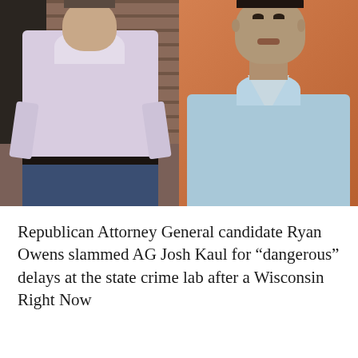[Figure (photo): Two side-by-side photos: left shows a white man in a light purple/pink button-up shirt standing in front of a brick wall and dark door; right shows a dark-haired man in a light blue collared shirt against an orange background.]
Republican Attorney General candidate Ryan Owens slammed AG Josh Kaul for “dangerous” delays at the state crime lab after a Wisconsin Right Now